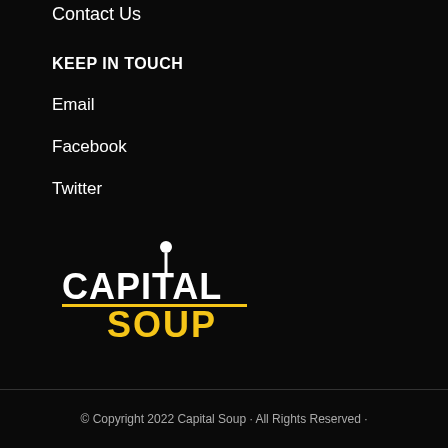Contact Us
KEEP IN TOUCH
Email
Facebook
Twitter
[Figure (logo): Capital Soup logo with white text CAPITAL and yellow text SOUP, spoon icon above the I]
Copyright © 2021
Terms & Conditions
© Copyright 2022 Capital Soup · All Rights Reserved ·